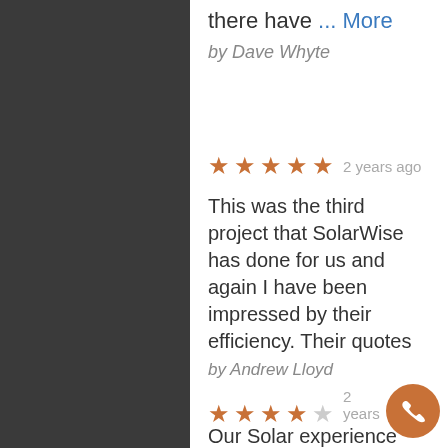there have ... More
by Dave Whyte
★★★★★ 2 years ago
This was the third project that SolarWise has done for us and again I have been impressed by their efficiency. Their quotes are always transparent and competitive and their workmanship is professional.
by Andrew Lloyd
★★★★☆ 2 years ago
Our Solar experience with